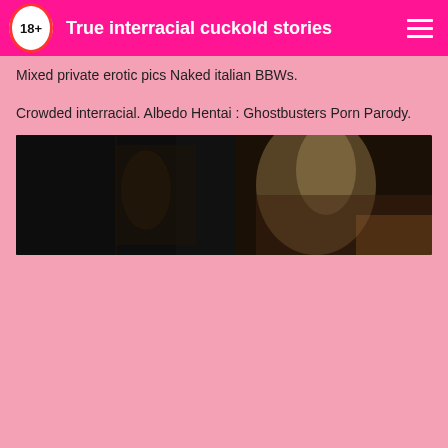True interracial cuckold stories
Mixed private erotic pics Naked italian BBWs.
Crowded interracial. Albedo Hentai : Ghostbusters Porn Parody.
[Figure (photo): Dark moody screenshot showing a blonde woman in a dim interior setting]